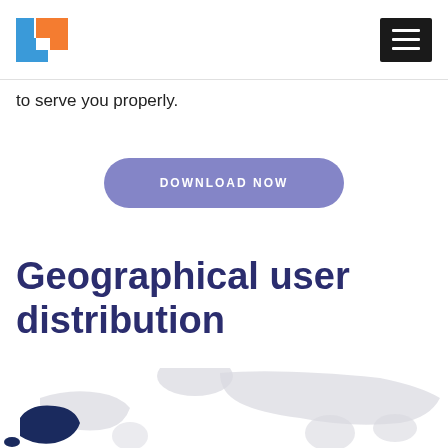to serve you properly.
DOWNLOAD NOW
Geographical user distribution
[Figure (map): World map showing geographical user distribution with a highlighted region in Alaska/North America in dark navy blue, rest of world in light grey.]